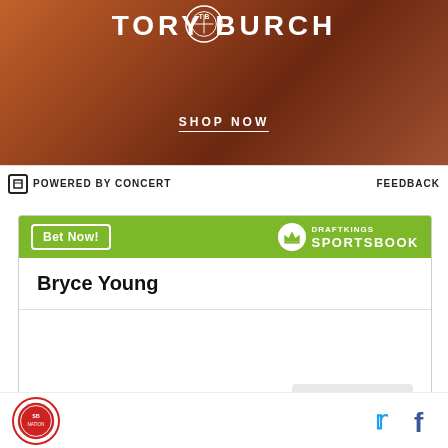[Figure (photo): Tory Burch advertisement banner with brick wall background, logo and SHOP NOW text]
POWERED BY CONCERT    FEEDBACK
[Figure (other): DraftKings Sportsbook widget showing Bryce Young To win Heisman Trophy odds of +380]
Bryce Young
To win Heisman Trophy   +380